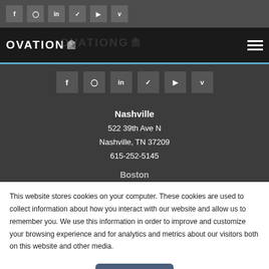Social media icon bar (top): f, Instagram, in, Twitter, YouTube, Vimeo
[Figure (logo): Ovation logo with cube icon on dark nav bar with hamburger menu]
[Figure (infographic): Social media icons row: f, Instagram, in, Twitter, YouTube, Vimeo on dark background]
Nashville
522 39th Ave N
Nashville, TN 37209
615-252-5145
Boston
This website stores cookies on your computer. These cookies are used to collect information about how you interact with our website and allow us to remember you. We use this information in order to improve and customize your browsing experience and for analytics and metrics about our visitors both on this website and other media.
Accept